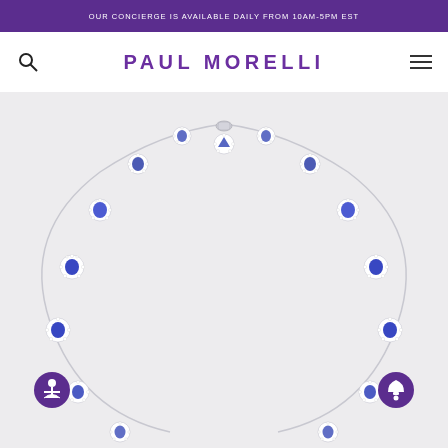OUR CONCIERGE IS AVAILABLE DAILY FROM 10AM-5PM EST
PAUL MORELLI
[Figure (photo): Paul Morelli jewelry product page showing a sapphire and diamond necklace arranged in an arch/circle on a light gray background. The necklace features alternating blue sapphire heart-shaped stones surrounded by diamond halos, connected by delicate white gold links.]